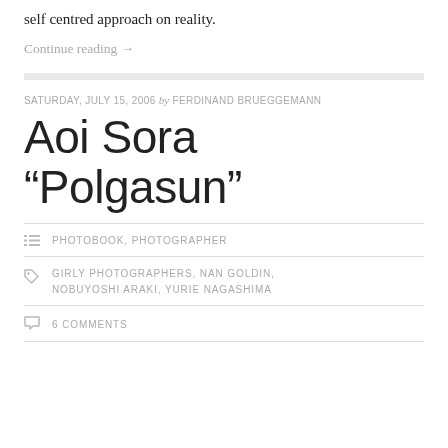self centred approach on reality.
Continue reading →
SATURDAY, JULY 15, 2006 by FERDINAND BRUEGGEMANN
Aoi Sora “Polgasun”
PHOTOBOOK, PHOTOGRAPHER
GIRLY PHOTOGRAPHERS, NAN GOLDIN, NOBUYOSHI ARAKI, YURIE NAGASHIMA
6 COMMENTS